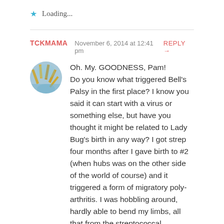★ Loading...
TCKMAMA   November 6, 2014 at 12:41 pm   REPLY →
Oh. My. GOODNESS, Pam! Do you know what triggered Bell's Palsy in the first place? I know you said it can start with a virus or something else, but have you thought it might be related to Lady Bug's birth in any way? I got strep four months after I gave birth to #2 (when hubs was on the other side of the world of course) and it triggered a form of migratory poly-arthritis. I was hobbling around, hardly able to bend my limbs, all that from the streptococcal infection. Insane – and terrible to manage with a toddler and an infant. So, I feel your pain! And, I wonder if the